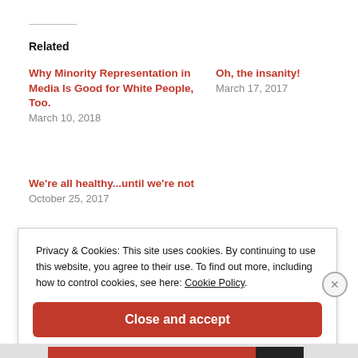Related
Why Minority Representation in Media Is Good for White People, Too.
March 10, 2018
Oh, the insanity!
March 17, 2017
We're all healthy...until we're not
October 25, 2017
Privacy & Cookies: This site uses cookies. By continuing to use this website, you agree to their use. To find out more, including how to control cookies, see here: Cookie Policy
Close and accept